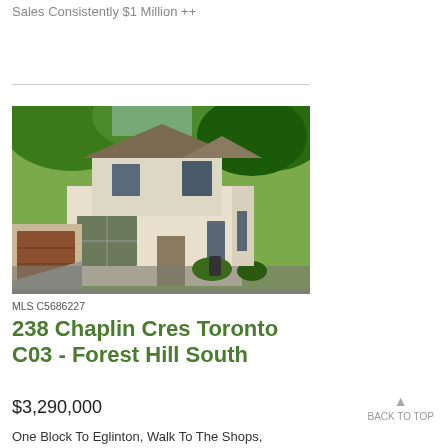Sales Consistently $1 Million ++
[Figure (photo): Exterior photo of a two-storey beige/cream house with brown garage, surrounded by trees]
MLS C5686227
238 Chaplin Cres Toronto C03 - Forest Hill South
$3,290,000
One Block To Eglinton, Walk To The Shops, Restaurants, Transit